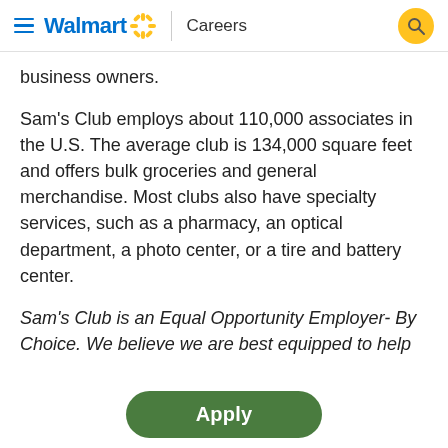Walmart Careers
business owners.
Sam's Club employs about 110,000 associates in the U.S. The average club is 134,000 square feet and offers bulk groceries and general merchandise. Most clubs also have specialty services, such as a pharmacy, an optical department, a photo center, or a tire and battery center.
Sam's Club is an Equal Opportunity Employer- By Choice. We believe we are best equipped to help our
Apply